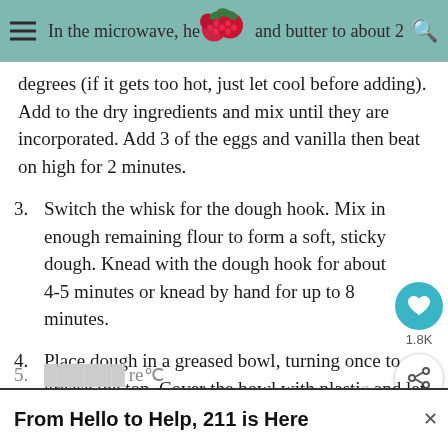In the microwave, he and butter to about 2 degrees
degrees (if it gets too hot, just let cool before adding). Add to the dry ingredients and mix until they are incorporated. Add 3 of the eggs and vanilla then beat on high for 2 minutes.
3. Switch the whisk for the dough hook. Mix in enough remaining flour to form a soft, sticky dough. Knead with the dough hook for about 4-5 minutes or knead by hand for up to 8 minutes.
4. Place dough in a greased bowl, turning once to grease the top. Cover the bowl with plasti and let rise in a warm place (85° is idea doubled, about 45 minutes.
5.